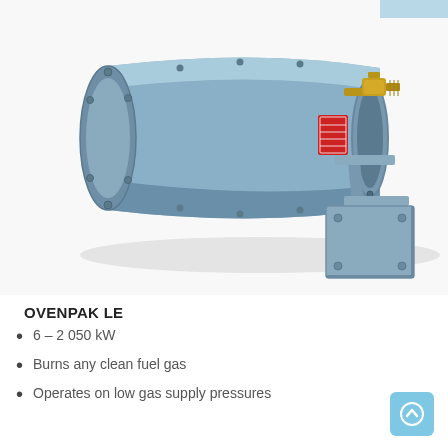[Figure (photo): Industrial gas burner unit (Ovenpak LE) shown in angled perspective view. The cylindrical blue-grey metal burner body has mounting flanges, a red warning label, brass gas fitting/valve on the right side, and a mounting bracket assembly at the front.]
OVENPAK LE
6 – 2 050 kW
Burns any clean fuel gas
Operates on low gas supply pressures